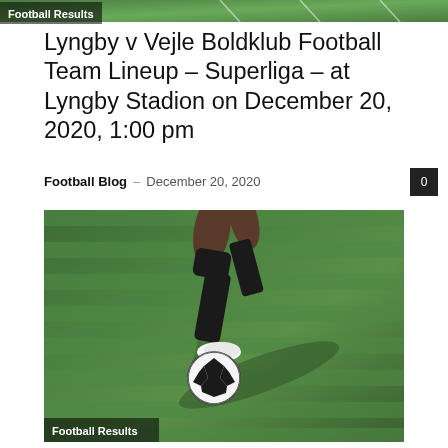Football Results
Lyngby v Vejle Boldklub Football Team Lineup – Superliga – at Lyngby Stadion on December 20, 2020, 1:00 pm
Football Blog – December 20, 2020
[Figure (photo): Football player in black kit and socks about to kick a black and white soccer ball on a green grass pitch, with shadow cast on the ground. A 'Football Results' label overlay appears at the bottom left.]